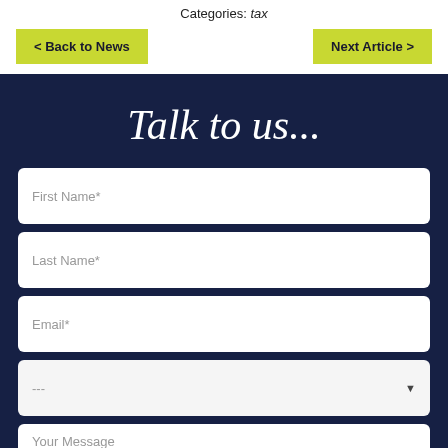Categories: tax
< Back to News
Next Article >
Talk to us...
First Name*
Last Name*
Email*
---
Your Message